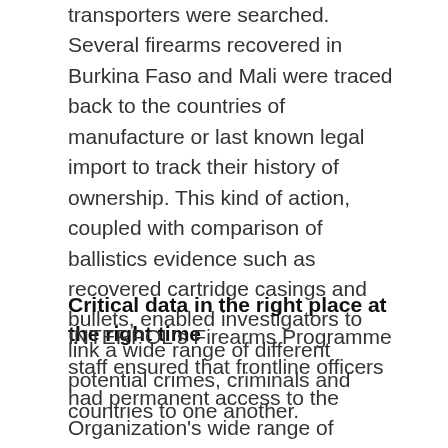transporters were searched. Several firearms recovered in Burkina Faso and Mali were traced back to the countries of manufacture or last known legal import to track their history of ownership. This kind of action, coupled with comparison of ballistics evidence such as recovered cartridge casings and bullets, enabled investigators to link a wide range of different potential crimes, criminals and countries to one another.
Critical data in the right place at the right time
INTERPOL's Firearms Programme staff ensured that frontline officers had permanent access to the Organization's wide range of criminal databases, enabling them to determine if suspects were using stolen travel documents, were known to police in any of INTERPOL's 194 member countries, or were travelling in a stolen vehicle. Thousands of checks